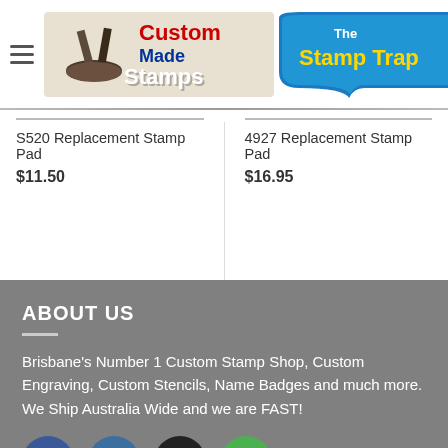[Figure (logo): The Stamp Trap - Custom Made Stamps logo with hamburger menu and cart icon showing 0]
S520 Replacement Stamp Pad
$11.50
4927 Replacement Stamp Pad
$16.95
ABOUT US
Brisbane's Number 1 Custom Stamp Shop, Custom Engraving, Custom Stencils, Name Badges and much more. We Ship Australia Wide and we are FAST!
[Figure (infographic): Social media icons: Facebook (blue circle), Instagram (blue circle), Email (black circle with envelope), Phone (green circle with handset)]